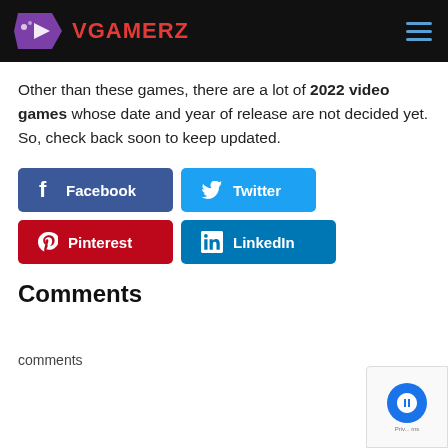VGAMERZ
Other than these games, there are a lot of 2022 video games whose date and year of release are not decided yet. So, check back soon to keep updated.
[Figure (other): Social sharing buttons: Facebook (blue), Twitter (cyan), Pinterest (red), LinkedIn (blue)]
Comments
comments